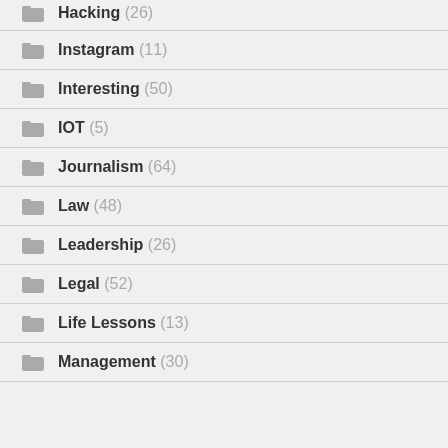Hacking (26)
Instagram (11)
Interesting (50)
IOT (5)
Journalism (64)
Law (48)
Leadership (26)
Legal (52)
Life Lessons (13)
Management (30)